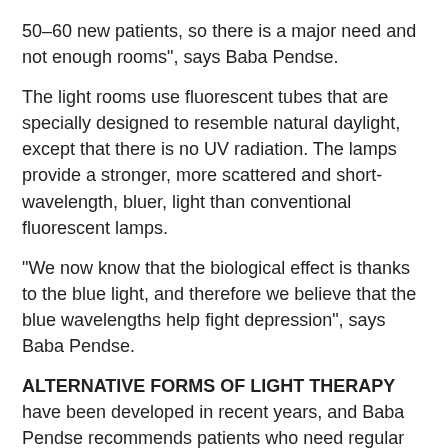50–60 new patients, so there is a major need and not enough rooms”, says Baba Pendse.
The light rooms use fluorescent tubes that are specially designed to resemble natural daylight, except that there is no UV radiation. The lamps provide a stronger, more scattered and short-wavelength, bluer, light than conventional fluorescent lamps.
“We now know that the biological effect is thanks to the blue light, and therefore we believe that the blue wavelengths help fight depression”, says Baba Pendse.
ALTERNATIVE FORMS OF LIGHT THERAPY have been developed in recent years, and Baba Pendse recommends patients who need regular long-term treatment to acquire special lighting at home and at work. For example, the patient could start with the light of dawn at home in bed that awakens the person gradually and then use light screens or light boxes to receive sufficient doses of bright light (1500–2000 lux) of the right wavelength to avoid depression.